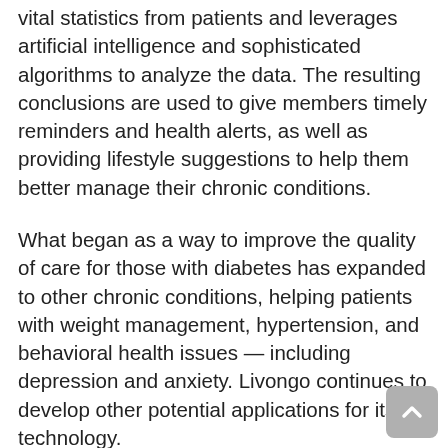vital statistics from patients and leverages artificial intelligence and sophisticated algorithms to analyze the data. The resulting conclusions are used to give members timely reminders and health alerts, as well as providing lifestyle suggestions to help them better manage their chronic conditions.
What began as a way to improve the quality of care for those with diabetes has expanded to other chronic conditions, helping patients with weight management, hypertension, and behavioral health issues — including depression and anxiety. Livongo continues to develop other potential applications for its technology.
Providing a win-win situation — improving quality of life for those with chronic conditions, while also lowering costs — has proven to be a winning strategy for Livongo. For the first quarter, revenue grew 115% year over year (no, that isn't a typo), while gross margins crept higher due to the company's scalable business model. Livongo isn't yet profitable, but has scaled back its losses dramatically. At